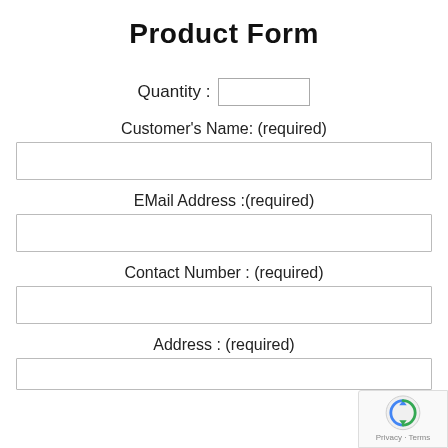Product Form
Quantity :
Customer's Name: (required)
EMail Address :(required)
Contact Number : (required)
Address : (required)